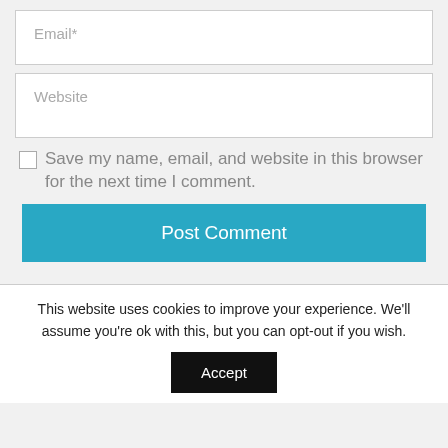Email*
Website
Save my name, email, and website in this browser for the next time I comment.
Post Comment
This website uses cookies to improve your experience. We'll assume you're ok with this, but you can opt-out if you wish.
Accept